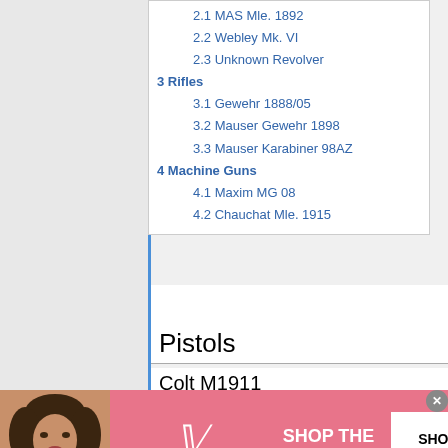2.1 MAS Mle. 1892
2.2 Webley Mk. VI
2.3 Unknown Revolver
3 Rifles
3.1 Gewehr 1888/05
3.2 Mauser Gewehr 1898
3.3 Mauser Karabiner 98AZ
4 Machine Guns
4.1 Maxim MG 08
4.2 Chauchat Mle. 1915
Pistols
Colt M1911
[Figure (photo): Victoria's Secret advertisement banner with a woman model, VS logo, 'SHOP THE COLLECTION' text, and 'SHOP NOW' button]